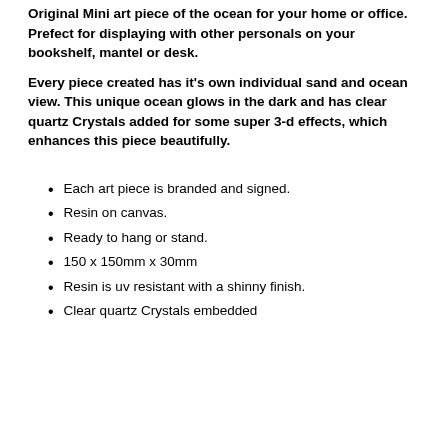Original Mini art piece of the ocean for your home or office. Prefect for displaying with other personals on your bookshelf, mantel or desk.
Every piece created has it's own individual sand and ocean view. This unique ocean glows in the dark and has clear quartz Crystals added for some super 3-d effects, which enhances this piece beautifully.
Each art piece is branded and signed.
Resin on canvas.
Ready to hang or stand.
150 x 150mm x 30mm
Resin is uv resistant with a shinny finish.
Clear quartz Crystals embedded